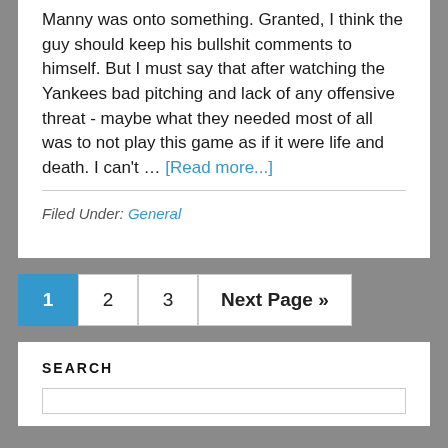Manny was onto something. Granted, I think the guy should keep his bullshit comments to himself. But I must say that after watching the Yankees bad pitching and lack of any offensive threat - maybe what they needed most of all was to not play this game as if it were life and death. I can't ... [Read more...]
Filed Under: General
1 (current page, active)
2
3
Next Page »
SEARCH